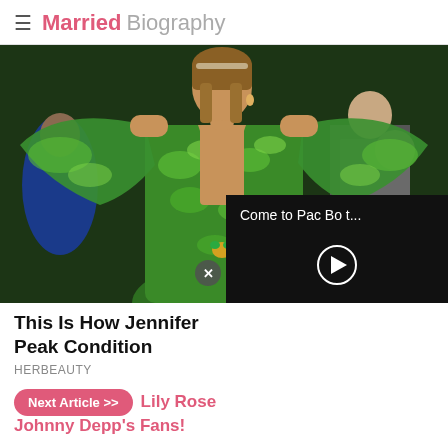Married Biography
[Figure (photo): Woman in a green tropical print Versace dress with wide sleeves raised, posing at a fashion event, surrounded by other people]
[Figure (screenshot): Video popup overlay with text 'Come to Pac Bo t...' and a play button on dark background, with an X close button]
This Is How Jennifer [Lopez Keeps In] Peak Condition
HERBEAUTY
Next Article >>
Lily Rose [Depp Won Over] Johnny Depp's Fans!